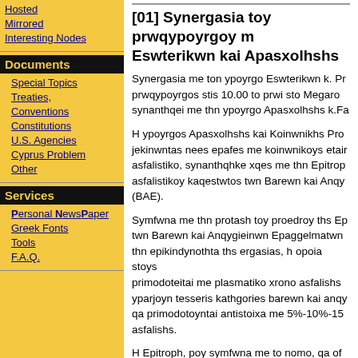Hosted
Mirrored
Interesting Nodes
Documents
Special Topics
Treaties, Conventions
Constitutions
U.S. Agencies
Cyprus Problem
Other
Services
Personal NewsPaper
Greek Fonts
Tools
F.A.Q.
[01] Synergasia toy prwqypoyrgoy m... Eswterikwn kai Apasxolhshs
Synergasia me ton ypoyrgo Eswterikwn k. Pr... prwqypoyrgos stis 10.00 to prwi sto Megaro... synanthqei me thn ypoyrgo Apasxolhshs k.Fa...
H ypoyrgos Apasxolhshs kai Koinwnikhs Pro... jekinwntas nees epafes me koinwnikoys etair... asfalistiko, synanthqhke xqes me thn Epitrop... asfalistikoy kaqestwtos twn Barewn kai Anqy... (BAE).
Symfwna me thn protash toy proedroy ths Ep... twn Barewn kai Anqygieinwn Epaggelmatwn... thn epikindynothta ths ergasias, h opoia stoys... primodoteitai me plasmatiko xrono asfalishs... yparjoyn tesseris kathgories barewn kai anqy... qa primodotoyntai antistoixa me 5%-10%-15... asfalishs.
H Epitroph, poy symfwna me to nomo, qa of... ergasies ths ws to telos toy xronoy, qa parei m... nered...kai to parisma ths...